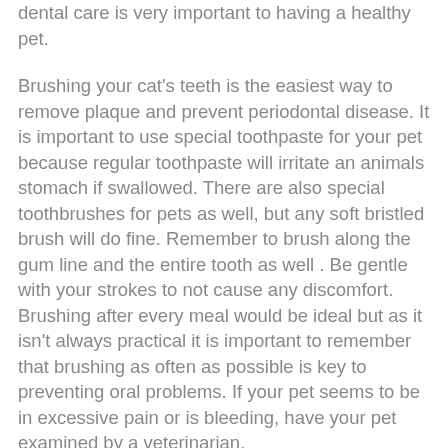dental care is very important to having a healthy pet.
Brushing your cat's teeth is the easiest way to remove plaque and prevent periodontal disease. It is important to use special toothpaste for your pet because regular toothpaste will irritate an animals stomach if swallowed. There are also special toothbrushes for pets as well, but any soft bristled brush will do fine. Remember to brush along the gum line and the entire tooth as well . Be gentle with your strokes to not cause any discomfort. Brushing after every meal would be ideal but as it isn't always practical it is important to remember that brushing as often as possible is key to preventing oral problems. If your pet seems to be in excessive pain or is bleeding, have your pet examined by a veterinarian.
Your pet should have a dental exam as often as you do, twice a year. Your pet should also have periodic